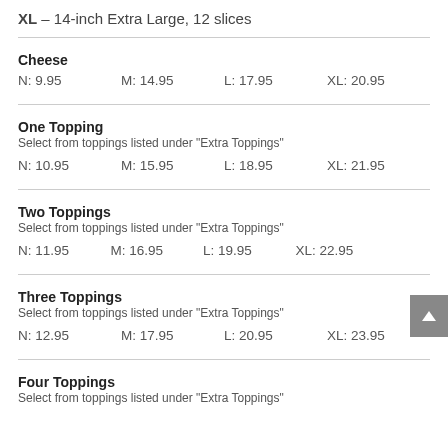XL – 14-inch Extra Large, 12 slices
Cheese
N: 9.95    M: 14.95    L: 17.95    XL: 20.95
One Topping
Select from toppings listed under "Extra Toppings"
N: 10.95    M: 15.95    L: 18.95    XL: 21.95
Two Toppings
Select from toppings listed under "Extra Toppings"
N: 11.95    M: 16.95    L: 19.95    XL: 22.95
Three Toppings
Select from toppings listed under "Extra Toppings"
N: 12.95    M: 17.95    L: 20.95    XL: 23.95
Four Toppings
Select from toppings listed under "Extra Toppings"